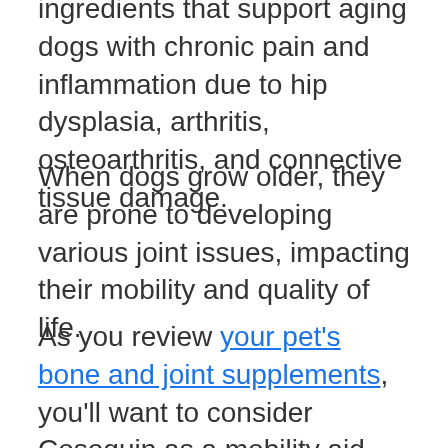ingredients that support aging dogs with chronic pain and inflammation due to hip dysplasia, arthritis, osteoarthritis, and connective tissue damage.
When dogs grow older, they are prone to developing various joint issues, impacting their mobility and quality of life.
As you review your pet's bone and joint supplements, you'll want to consider Cosequin as a mobility aid that can make a positive difference for senior dogs. Here's why: